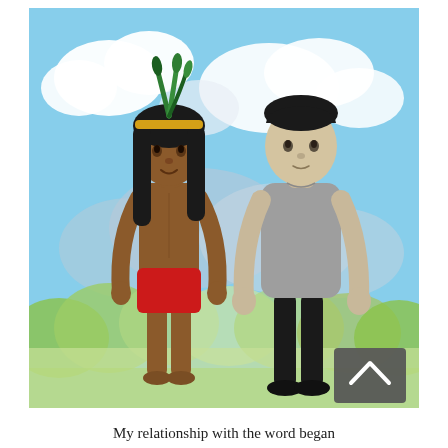[Figure (illustration): Illustrated scene showing two figures standing outdoors. On the left is an indigenous person with long black hair, a feathered headband, and a red loincloth, with brown skin and bare feet, looking toward the other figure. On the right is a modern young man with short dark hair wearing a gray t-shirt and black pants with dark shoes. The background shows a bright blue sky with white clouds, mountains, and green tropical vegetation. A dark gray navigation button with an upward-pointing chevron arrow is visible in the bottom-right corner of the image.]
My relationship with the word began